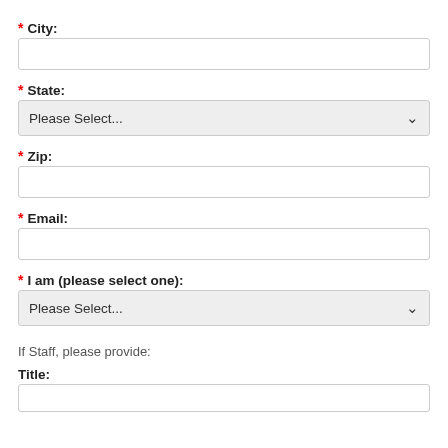* City:
* State:
Please Select...
* Zip:
* Email:
* I am (please select one):
Please Select...
If Staff, please provide:
Title: